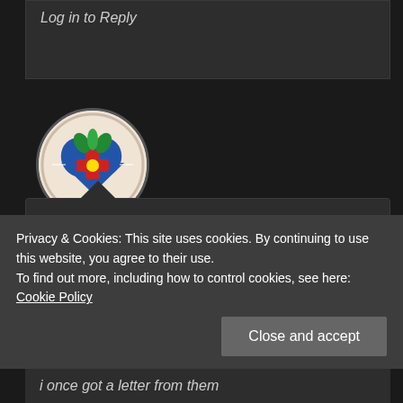Log in to Reply
[Figure (illustration): Circular avatar image showing a blue heart shape with red cross/flower motif on a light beige background with decorative border]
GEOFF REYNOLDS
9 years ago
Privacy & Cookies: This site uses cookies. By continuing to use this website, you agree to their use.
To find out more, including how to control cookies, see here: Cookie Policy
Close and accept
i once got a letter from them